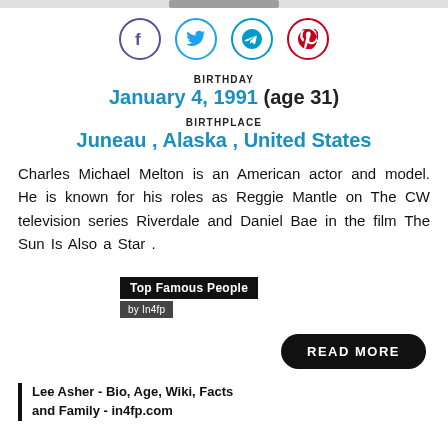[Figure (other): Social media share icons: Facebook, Twitter, Telegram, Pinterest]
BIRTHDAY
January 4, 1991 (age 31)
BIRTHPLACE
Juneau , Alaska , United States
Charles Michael Melton is an American actor and model. He is known for his roles as Reggie Mantle on The CW television series Riverdale and Daniel Bae in the film The Sun Is Also a Star .
Top Famous People
by In4fp
READ MORE
Lee Asher - Bio, Age, Wiki, Facts and Family - in4fp.com